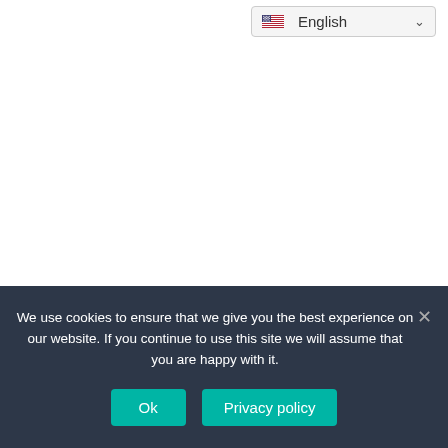[Figure (screenshot): Language selector dropdown showing US flag and 'English' text with chevron]
We use cookies to ensure that we give you the best experience on our website. If you continue to use this site we will assume that you are happy with it.
Ok
Privacy policy